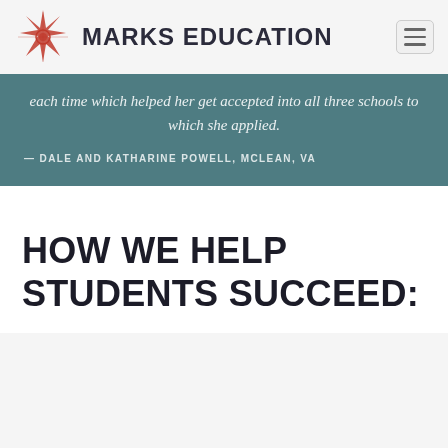MARKS EDUCATION
each time which helped her get accepted into all three schools to which she applied.
— DALE AND KATHARINE POWELL, MCLEAN, VA
HOW WE HELP STUDENTS SUCCEED: